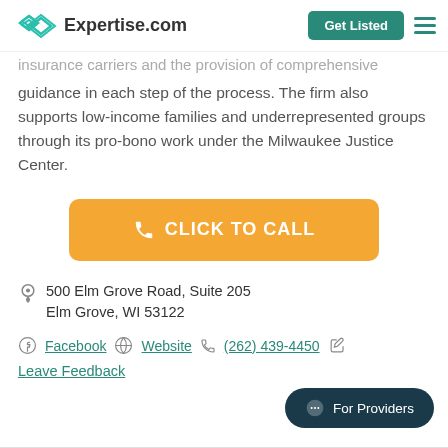Expertise.com | Get Listed
insurance carriers and the provision of comprehensive guidance in each step of the process. The firm also supports low-income families and underrepresented groups through its pro-bono work under the Milwaukee Justice Center.
CLICK TO CALL
500 Elm Grove Road, Suite 205 Elm Grove, WI 53122
Facebook  Website  (262) 439-4450
Leave Feedback
For Providers